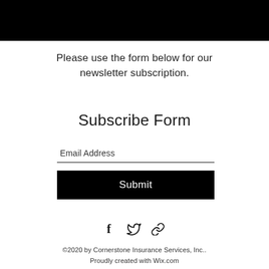[Figure (other): Black rectangular bar at the top of the page, likely a header image or banner]
Please use the form below for our newsletter subscription.
Subscribe Form
Email Address
Submit
[Figure (other): Social media icons: Facebook (f), Twitter (bird), and a link/chain icon]
©2020 by Cornerstone Insurance Services, Inc.. Proudly created with Wix.com